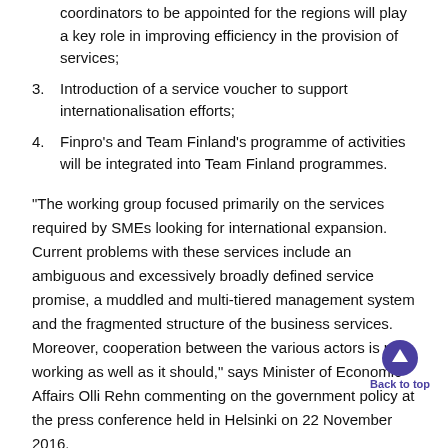coordinators to be appointed for the regions will play a key role in improving efficiency in the provision of services;
3. Introduction of a service voucher to support internationalisation efforts;
4. Finpro's and Team Finland's programme of activities will be integrated into Team Finland programmes.
“The working group focused primarily on the services required by SMEs looking for international expansion. Current problems with these services include an ambiguous and excessively broadly defined service promise, a muddled and multi-tiered management system and the fragmented structure of the business services. Moreover, cooperation between the various actors is not working as well as it should,” says Minister of Economic Affairs Olli Rehn commenting on the government policy at the press conference held in Helsinki on 22 November 2016.
To clarify the system of operative management, the current Team Finland Steering Group led by the Prime Minister’s Office will be